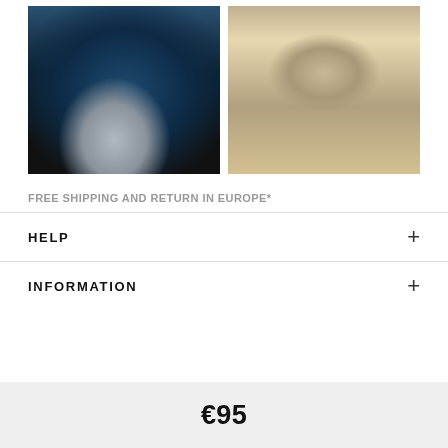[Figure (photo): Person sitting on a blue exercise ball, wearing grey/white athletic leggings and grey sneakers, in a gym setting]
[Figure (photo): Female factory worker in beige jacket and red shirt assembling/painting a white sneaker at a workbench in a shoe factory]
FREE SHIPPING AND RETURN IN EUROPE*
HELP
INFORMATION
€95